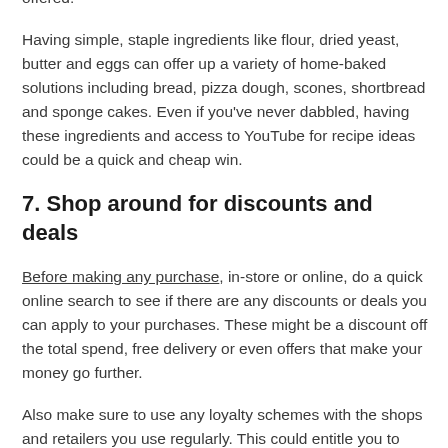what to make, there are many apps and websites where you can input the ingredients and recipe suggestions will be offered.
Having simple, staple ingredients like flour, dried yeast, butter and eggs can offer up a variety of home-baked solutions including bread, pizza dough, scones, shortbread and sponge cakes. Even if you've never dabbled, having these ingredients and access to YouTube for recipe ideas could be a quick and cheap win.
7. Shop around for discounts and deals
Before making any purchase, in-store or online, do a quick online search to see if there are any discounts or deals you can apply to your purchases. These might be a discount off the total spend, free delivery or even offers that make your money go further.
Also make sure to use any loyalty schemes with the shops and retailers you use regularly. This could entitle you to additional